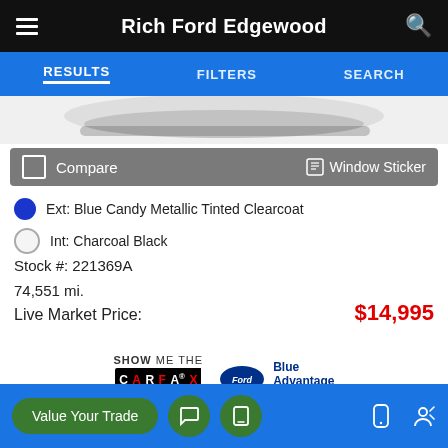Rich Ford Edgewood
RESULTS   FILTERS   SEARCH
[Figure (screenshot): Partial car image visible at top of listing]
Compare   Window Sticker
Ext: Blue Candy Metallic Tinted Clearcoat
Int: Charcoal Black
Stock #: 221369A
74,551 mi.
Live Market Price:   $14,995
[Figure (logo): CARFAX Show Me The Carfax 1 Owner logo and Ford Blue Advantage Blue Certified logo]
Value Your Trade